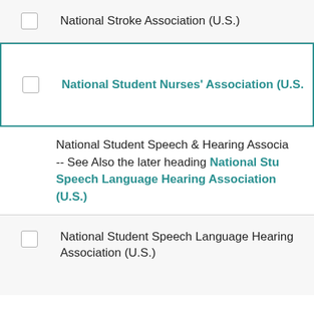National Stroke Association (U.S.)
National Student Nurses' Association (U.S.)
National Student Speech & Hearing Association -- See Also the later heading National Student Speech Language Hearing Association (U.S.)
National Student Speech Language Hearing Association (U.S.)